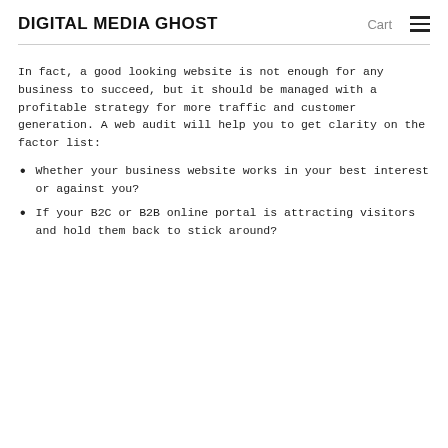DIGITAL MEDIA GHOST   Cart ☰
In fact, a good looking website is not enough for any business to succeed, but it should be managed with a profitable strategy for more traffic and customer generation. A web audit will help you to get clarity on the factor list:
Whether your business website works in your best interest or against you?
If your B2C or B2B online portal is attracting visitors and hold them back to stick around?